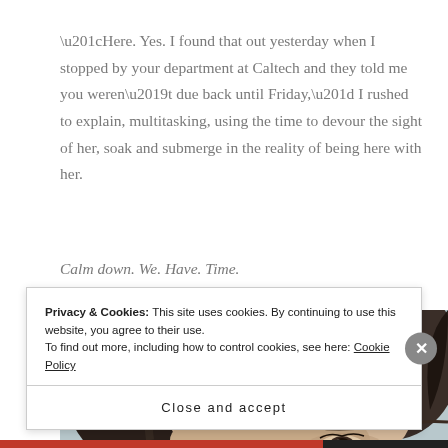“Here. Yes. I found that out yesterday when I stopped by your department at Caltech and they told me you weren’t due back until Friday,” I rushed to explain, multitasking, using the time to devour the sight of her, soak and submerge in the reality of being here with her.
Calm down. We. Have. Time.
[Figure (photo): Close-up photo of a woman with dark wavy hair, showing the top half of her face with her forehead and eyes visible against a blurred background.]
Privacy & Cookies: This site uses cookies. By continuing to use this website, you agree to their use. To find out more, including how to control cookies, see here: Cookie Policy
Close and accept